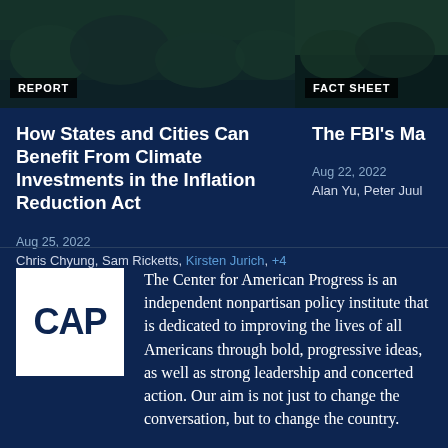[Figure (photo): Aerial/landscape photo of forested area with dark overlay, labeled REPORT]
[Figure (photo): Aerial/landscape photo of green area with dark overlay, labeled FACT SHEET]
How States and Cities Can Benefit From Climate Investments in the Inflation Reduction Act
Aug 25, 2022
Chris Chyung, Sam Ricketts, Kirsten Jurich, +4 More
The FBI's Ma
Aug 22, 2022
Alan Yu, Peter Juul
[Figure (logo): CAP (Center for American Progress) white logo on dark navy background]
The Center for American Progress is an independent nonpartisan policy institute that is dedicated to improving the lives of all Americans through bold, progressive ideas, as well as strong leadership and concerted action. Our aim is not just to change the conversation, but to change the country.